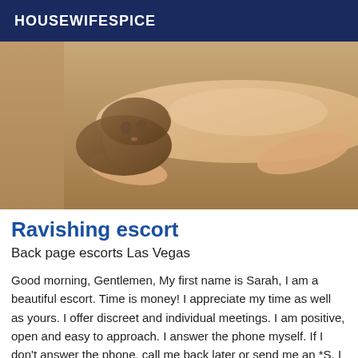HOUSEWIFESPICE
[Figure (photo): A person lying on a bed, photo used as escort listing image]
Ravishing escort
Back page escorts Las Vegas
Good morning, Gentlemen, My first name is Sarah, I am a beautiful escort. Time is money! I appreciate my time as well as yours. I offer discreet and individual meetings. I am positive, open and easy to approach. I answer the phone myself. If I don't answer the phone, call me back later or send me an *S. I appreciate punctuality and decency. I respect you and I ask you to respect me too! I